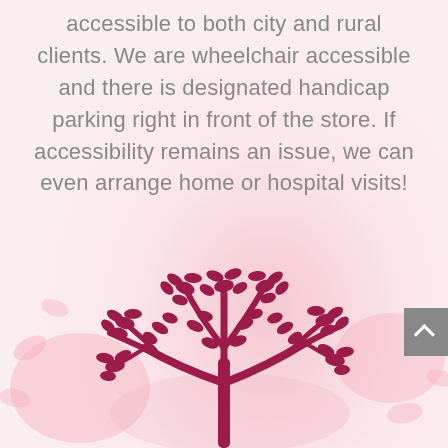accessible to both city and rural clients. We are wheelchair accessible and there is designated handicap parking right in front of the store. If accessibility remains an issue, we can even arrange home or hospital visits!
[Figure (illustration): Decorative floral illustration showing a stylized tree with deep pink/crimson leaves and branches against a soft pink blurred background with scattered petal shapes]